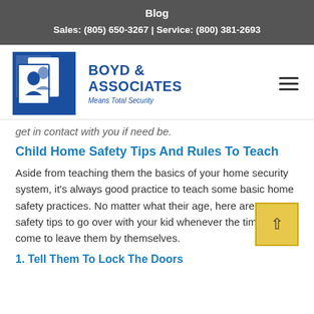Blog
Sales: (805) 650-3267 | Service: (800) 381-2693
[Figure (logo): Boyd & Associates logo — two profile silhouettes in a blue square frame, with text 'BOYD & ASSOCIATES' and tagline 'Means Total Security']
get in contact with you if need be.
Child Home Safety Tips And Rules To Teach
Aside from teaching them the basics of your home security system, it's always good practice to teach some basic home safety practices. No matter what their age, here are some safety tips to go over with your kid whenever the time does come to leave them by themselves.
1. Tell Them To Lock The Doors